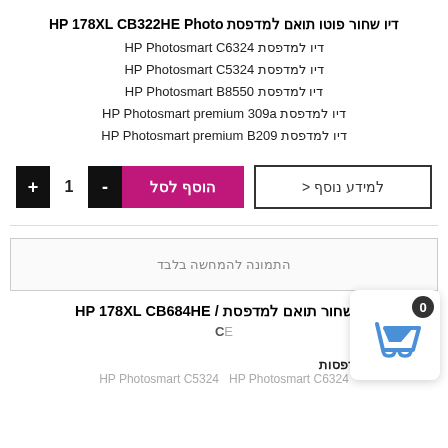דיו שחור פוטו תואם למדפסת HP 178XL CB322HE Photo
דיו למדפסת HP Photosmart C6324
דיו למדפסת HP Photosmart C5324
דיו למדפסת HP Photosmart B8550
דיו למדפסת HP Photosmart premium 309a
דיו למדפסת HP Photosmart premium B209
למידע נוסף <
הוסף לסל - 1 +
[Figure (other): Image placeholder box with text: התמונה להמחשה בלבד]
התמונה להמחשה בלבד
דיו שחור תואם למדפסת / HP 178XL CB684HE
CE
מק 101
מתאים למדפסות:
HP Photosmart C5324 HP Photosmart C6324